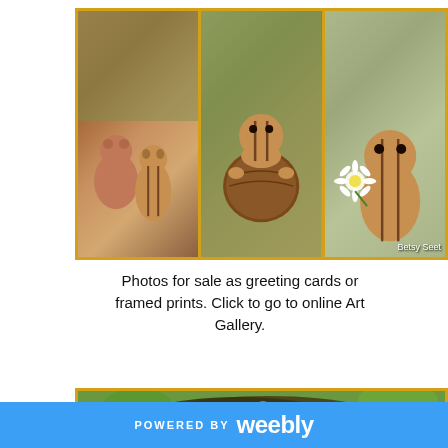[Figure (photo): Three chipmunk photos side by side in a yellow-bordered strip: left shows a chipmunk with a stuffed bear, center shows a chipmunk holding a large round nut/walnut, right shows a chipmunk with a white flower. Credit: Betsy Seet.]
Photos for sale as greeting cards or framed prints. Click to go to online Art Gallery.
[Figure (photo): Large photograph of a swarm of honeybees clustered on a branch surrounded by green leaves.]
POWERED BY weebly